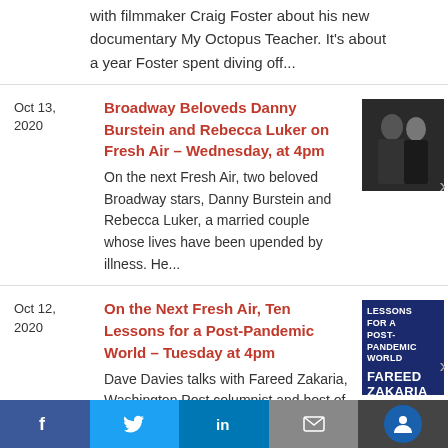with filmmaker Craig Foster about his new documentary My Octopus Teacher. It's about a year Foster spent diving off...
Oct 13, 2020
Broadway Beloveds Danny Burstein and Rebecca Luker on Fresh Air – Wednesday, at 4pm
On the next Fresh Air, two beloved Broadway stars, Danny Burstein and Rebecca Luker, a married couple whose lives have been upended by illness. He...
[Figure (photo): Photo of Danny Burstein and Rebecca Luker, a couple in formal attire]
Oct 12, 2020
On the Next Fresh Air, Ten Lessons for a Post-Pandemic World – Tuesday at 4pm
Dave Davies talks with Fareed Zakaria, Washington Post columnist and host of CNN's
[Figure (photo): Book cover: Ten Lessons for a Post-Pandemic World by Fareed Zakaria]